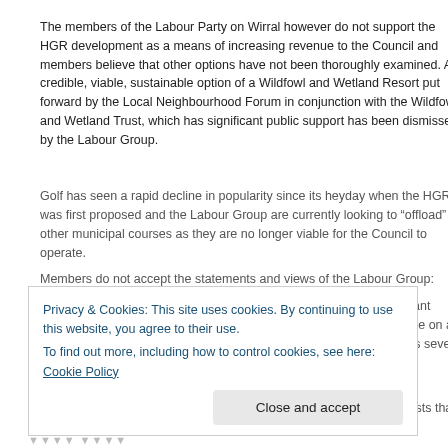The members of the Labour Party on Wirral however do not support the HGR development as a means of increasing revenue to the Council and members believe that other options have not been thoroughly examined. A credible, viable, sustainable option of a Wildfowl and Wetland Resort put forward by the Local Neighbourhood Forum in conjunction with the Wildfowl and Wetland Trust, which has significant public support has been dismissed by the Labour Group.
Golf has seen a rapid decline in popularity since its heyday when the HGR was first proposed and the Labour Group are currently looking to “offload” other municipal courses as they are no longer viable for the Council to operate.
Members do not accept the statements and views of the Labour Group:
The development is said by Cllr Phil Davies to be ‘a globally-significant tourism and leisure attraction’ – yet it will not even be able to compete on a global scale with Celtic Manor’s other resort in South Wales, which is seven times the size of the Hoylake site.
Deputy Leader of the Council George Davies has said that there is a ‘shortage of top band houses’ in Wirral whereas the evidence suggests that there is a shortage of “affordable” homes.
Privacy & Cookies: This site uses cookies. By continuing to use this website, you agree to their use.
To find out more, including how to control cookies, see here: Cookie Policy
Close and accept